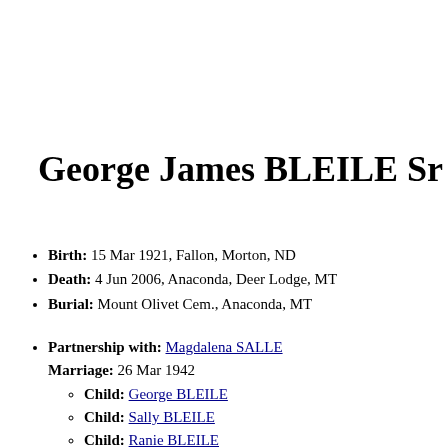George James BLEILE Sr
Birth: 15 Mar 1921, Fallon, Morton, ND
Death: 4 Jun 2006, Anaconda, Deer Lodge, MT
Burial: Mount Olivet Cem., Anaconda, MT
Partnership with: Magdalena SALLE Marriage: 26 Mar 1942 Child: George BLEILE Child: Sally BLEILE Child: Ranie BLEILE